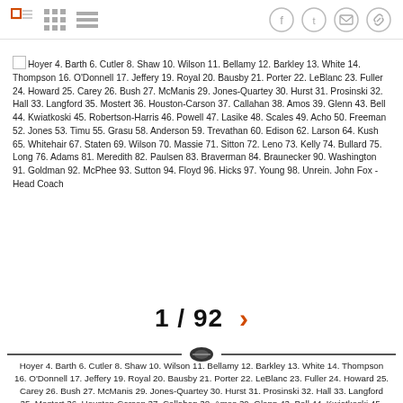Navigation and share icons header bar
Hoyer 4. Barth 6. Cutler 8. Shaw 10. Wilson 11. Bellamy 12. Barkley 13. White 14. Thompson 16. O'Donnell 17. Jeffery 19. Royal 20. Bausby 21. Porter 22. LeBlanc 23. Fuller 24. Howard 25. Carey 26. Bush 27. McManis 29. Jones-Quartey 30. Hurst 31. Prosinski 32. Hall 33. Langford 35. Mostert 36. Houston-Carson 37. Callahan 38. Amos 39. Glenn 43. Bell 44. Kwiatkoski 45. Robertson-Harris 46. Powell 47. Lasike 48. Scales 49. Acho 50. Freeman 52. Jones 53. Timu 55. Grasu 58. Anderson 59. Trevathan 60. Edison 62. Larson 64. Kush 65. Whitehair 67. Staten 69. Wilson 70. Massie 71. Sitton 72. Leno 73. Kelly 74. Bullard 75. Long 76. Adams 81. Meredith 82. Paulsen 83. Braverman 84. Braunecker 90. Washington 91. Goldman 92. McPhee 93. Sutton 94. Floyd 96. Hicks 97. Young 98. Unrein. John Fox - Head Coach
1 / 92
Hoyer 4. Barth 6. Cutler 8. Shaw 10. Wilson 11. Bellamy 12. Barkley 13. White 14. Thompson 16. O'Donnell 17. Jeffery 19. Royal 20. Bausby 21. Porter 22. LeBlanc 23. Fuller 24. Howard 25. Carey 26. Bush 27. McManis 29. Jones-Quartey 30. Hurst 31. Prosinski 32. Hall 33. Langford 35. Mostert 36. Houston-Carson 37. Callahan 38. Amos 39. Glenn 43. Bell 44. Kwiatkoski 45. Robertson-Harris 46. Powell 47. Lasike 48. Scales 49. Acho 50. Freeman 52. Jones 53. Timu 55. Grasu 58. Anderson 59. Trevathan 60. Edison 62. Larson 64. Kush 65. Whitehair 67. Staten 69. Wilson 70. Massie 71. Sitton 72. Leno 73...